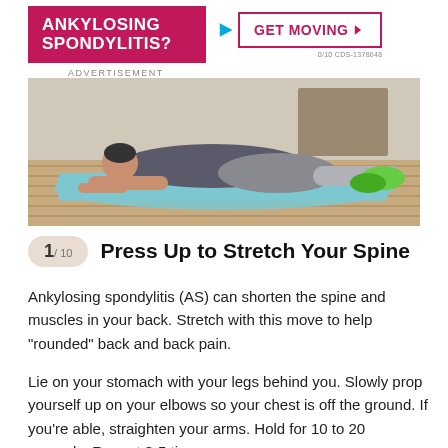[Figure (infographic): Advertisement banner: magenta/pink rectangle with white bold text 'ANKYLOSING SPONDYLITIS?' on left, and a 'GET MOVING' button with play arrow on right. Small text 'ADVERTISEMENT' below.]
[Figure (photo): A person in gray clothing lying face down on a blue exercise mat on a wooden deck, propped up on their elbows/forearms in a press-up stretch position, wearing green sneakers.]
1/10  Press Up to Stretch Your Spine
Ankylosing spondylitis (AS) can shorten the spine and muscles in your back. Stretch with this move to help "rounded" back and back pain.
Lie on your stomach with your legs behind you. Slowly prop yourself up on your elbows so your chest is off the ground. If you're able, straighten your arms. Hold for 10 to 20 seconds. Repeat 3-5 times.